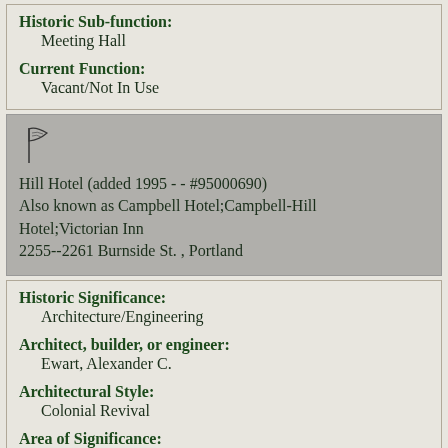Historic Sub-function: Meeting Hall
Current Function: Vacant/Not In Use
[Figure (illustration): A small flag/pennant icon]
Hill Hotel (added 1995 - - #95000690) Also known as Campbell Hotel;Campbell-Hill Hotel;Victorian Inn 2255--2261 Burnside St. , Portland
Historic Significance: Architecture/Engineering
Architect, builder, or engineer: Ewart, Alexander C.
Architectural Style: Colonial Revival
Area of Significance: Architecture